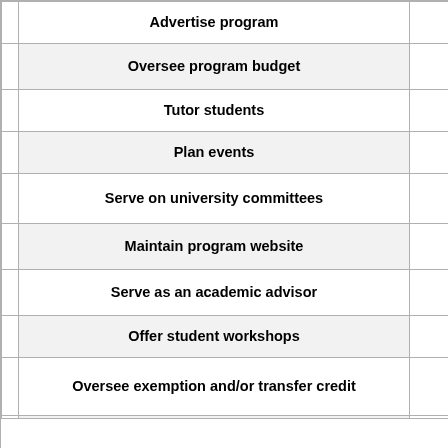|  | Advertise program |  |
|  | Oversee program budget |  |
|  | Tutor students |  |
|  | Plan events |  |
|  | Serve on university committees |  |
|  | Maintain program website |  |
|  | Serve as an academic advisor |  |
|  | Offer student workshops |  |
|  | Oversee exemption and/or transfer credit |  |
|  | Other |  |